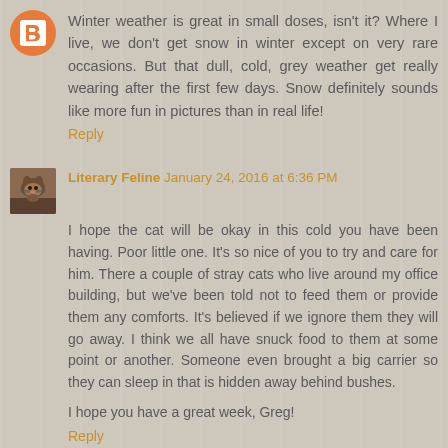[Figure (illustration): Blogger avatar icon - orange circle with white B letter]
Winter weather is great in small doses, isn't it? Where I live, we don't get snow in winter except on very rare occasions. But that dull, cold, grey weather get really wearing after the first few days. Snow definitely sounds like more fun in pictures than in real life!
Reply
[Figure (photo): Literary Feline user avatar - photo of a cat]
Literary Feline January 24, 2016 at 6:36 PM
I hope the cat will be okay in this cold you have been having. Poor little one. It's so nice of you to try and care for him. There a couple of stray cats who live around my office building, but we've been told not to feed them or provide them any comforts. It's believed if we ignore them they will go away. I think we all have snuck food to them at some point or another. Someone even brought a big carrier so they can sleep in that is hidden away behind bushes.
I hope you have a great week, Greg!
Reply